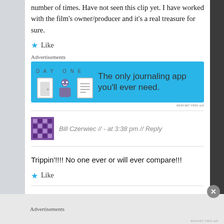number of times. Have not seen this clip yet. I have worked with the film’s owner/producer and it’s a real treasure for sure.
★ Like
Advertisements
[Figure (screenshot): Day One app advertisement banner with blue background and journaling app icons. Text reads: DAY ONE - The only journaling app you'll ever need.]
REPORT THIS AD
Bill Czerwiec // - at 3:38 pm // Reply
Trippin’!!!! No one ever or will ever compare!!!
★ Like
Advertisements
REPORT THIS AD